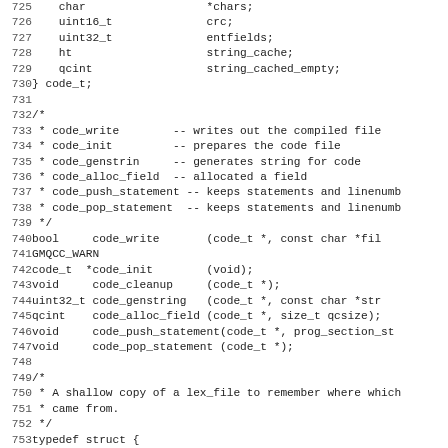Source code listing lines 725-756 showing C struct and function declarations for code_t type and related functions, plus typedef struct with file/line/column fields.